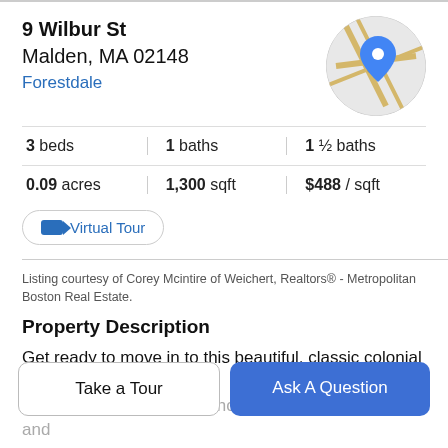9 Wilbur St
Malden, MA 02148
Forestdale
[Figure (map): Circular map thumbnail showing street map with blue location pin marker for 9 Wilbur St, Malden MA]
3 beds | 1 baths | 1 ½ baths
0.09 acres | 1,300 sqft | $488 / sqft
Virtual Tour
Listing courtesy of Corey Mcintire of Weichert, Realtors® - Metropolitan Boston Real Estate.
Property Description
Get ready to move in to this beautiful, classic colonial in a
Take a Tour
Ask A Question